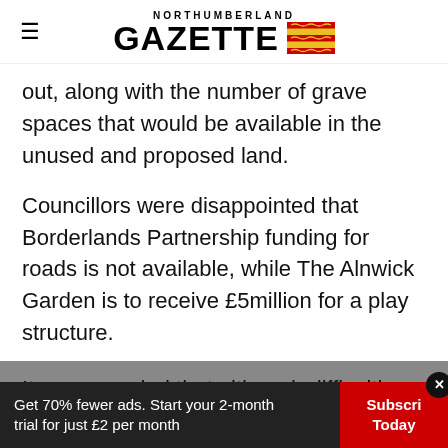NORTHUMBERLAND GAZETTE [logo with flag]
out, along with the number of grave spaces that would be available in the unused and proposed land.
Councillors were disappointed that Borderlands Partnership funding for roads is not available, while The Alnwick Garden is to receive £5million for a play structure.
It was revealed that although difficulties have been encountered by vehicles in the overflow...
Get 70% fewer ads. Start your 2-month trial for just £2 per month
Subscribe Today